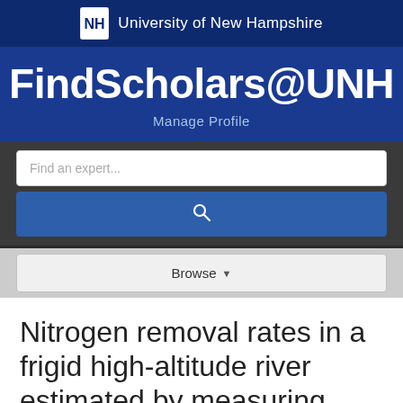University of New Hampshire
FindScholars@UNH
Manage Profile
Find an expert...
Browse
Nitrogen removal rates in a frigid high-altitude river estimated by measuring